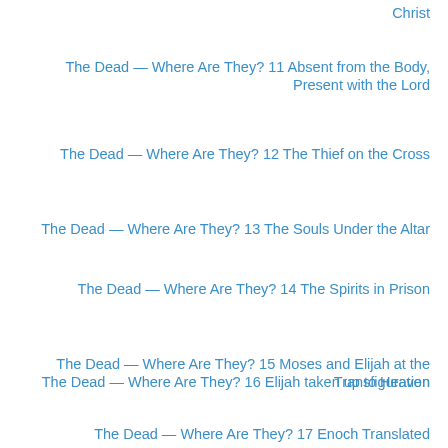Christ
The Dead — Where Are They? 11 Absent from the Body, Present with the Lord
The Dead — Where Are They? 12 The Thief on the Cross
The Dead — Where Are They? 13 The Souls Under the Altar
The Dead — Where Are They? 14 The Spirits in Prison
The Dead — Where Are They? 15 Moses and Elijah at the Transfiguration
The Dead — Where Are They? 16 Elijah taken up to Heaven
The Dead — Where Are They? 17 Enoch Translated